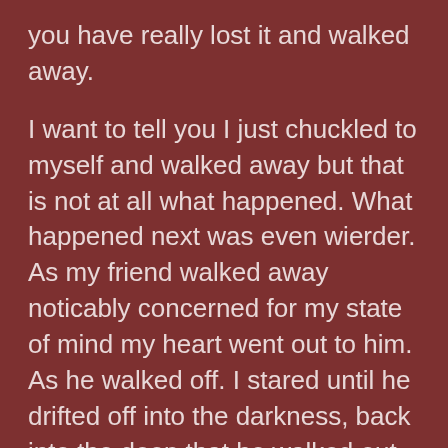you have really lost it and walked away.
I want to tell you I just chuckled to myself and walked away but that is not at all what happened. What happened next was even wierder. As my friend walked away noticably concerned for my state of mind my heart went out to him. As he walked off. I stared until he drifted off into the darkness, back into the deep that he walked out of. My heart went out to him because he truly believes that I may have taken this sobriety thing a little to far by going the whole 100% legal citizen route.
Then I reflected back on my own state of mind